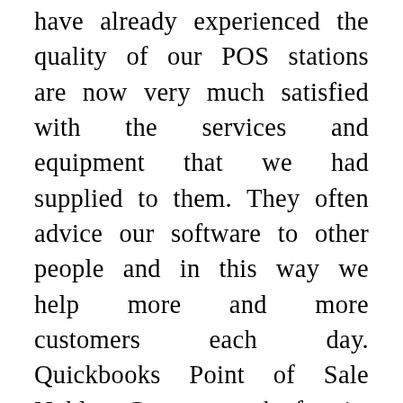have already experienced the quality of our POS stations are now very much satisfied with the services and equipment that we had supplied to them. They often advice our software to other people and in this way we help more and more customers each day. Quickbooks Point of Sale Nobles County work for its reputation and always offer only best wares. Nobles Quickbooks POS provide software maintaining all necessary features that enable you to have better and easier management of all processes in sales. Perfect and accurate inventory management that helps you always to